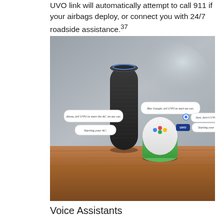UVO link will automatically attempt to call 911 if your airbags deploy, or connect you with 24/7 roadside assistance.37
[Figure (photo): Photo showing an Amazon Echo (tall black cylindrical smart speaker) and a Google Home (shorter white and green smart speaker) on a wooden surface, with speech bubble overlays showing voice commands: 'Alexa, tell UVO to start the AC on my car.' / 'Starting your AC.' and 'Hey Google, tell UVO to start my car.' / 'Sure, here's UVO.' / 'Starting your Kia.']
Voice Assistants